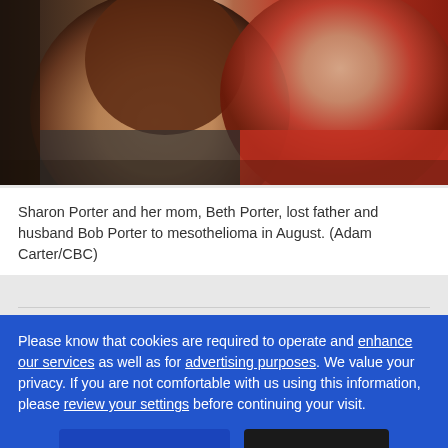[Figure (photo): Two women: Sharon Porter (left, dark hair, grey top) and Beth Porter (right, grey hair, red top) photographed together.]
Sharon Porter and her mom, Beth Porter, lost father and husband Bob Porter to mesothelioma in August. (Adam Carter/CBC)
Please know that cookies are required to operate and enhance our services as well as for advertising purposes. We value your privacy. If you are not comfortable with us using this information, please review your settings before continuing your visit.
Learn more
✕ Close